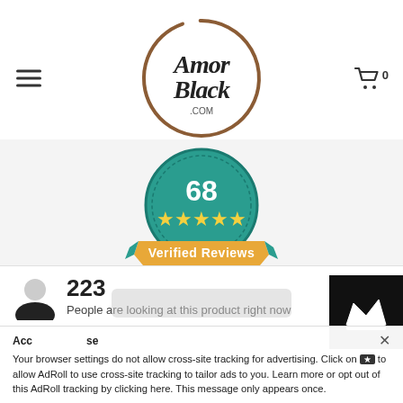[Figure (logo): Amor Black .com logo — circular brown swoosh with script text 'Amor Black .com']
[Figure (infographic): Teal circular badge showing '68' with 5 yellow stars and 'Verified Reviews' on an orange/gold ribbon banner, with teal laurel wreath below]
223
People are looking at this product right now
Acc[ept] ×
Your browser settings do not allow cross-site tracking for advertising. Click on [button] to allow AdRoll to use cross-site tracking to tailor ads to you. Learn more or opt out of this AdRoll tracking by clicking here. This message only appears once.